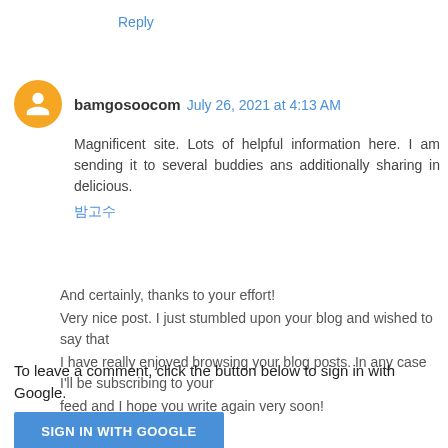Reply
bamgosoocom July 26, 2021 at 4:13 AM
Magnificent site. Lots of helpful information here. I am sending it to several buddies ans additionally sharing in delicious.
밤고수

And certainly, thanks to your effort!
Very nice post. I just stumbled upon your blog and wished to say that
I have really enjoyed browsing your blog posts. In any case I'll be subscribing to your
feed and I hope you write again very soon!
Reply
To leave a comment, click the button below to sign in with Google.
SIGN IN WITH GOOGLE